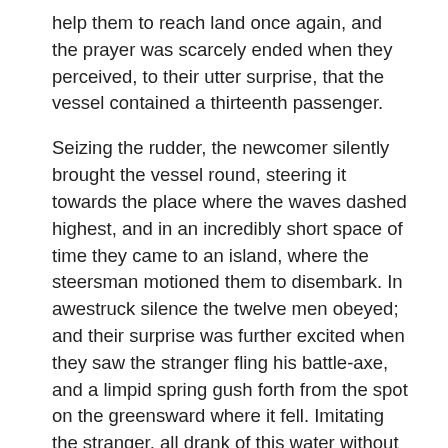help them to reach land once again, and the prayer was scarcely ended when they perceived, to their utter surprise, that the vessel contained a thirteenth passenger.
Seizing the rudder, the newcomer silently brought the vessel round, steering it towards the place where the waves dashed highest, and in an incredibly short space of time they came to an island, where the steersman motioned them to disembark. In awestruck silence the twelve men obeyed; and their surprise was further excited when they saw the stranger fling his battle-axe, and a limpid spring gush forth from the spot on the greensward where it fell. Imitating the stranger, all drank of this water without a word; then they sat down in a circle, marvelling because the newcomer resembled each one of them in some particular, but yet was very different from any one of them in general aspect and mien.
Suddenly the silence was broken, and the stranger began to speak in low tones, which grew firmer and louder as he proceeded to expound a code of laws which combined all the good points of the various existing regulations which the Asegeir had collected. His speech being finished, the speaker vanished as suddenly and